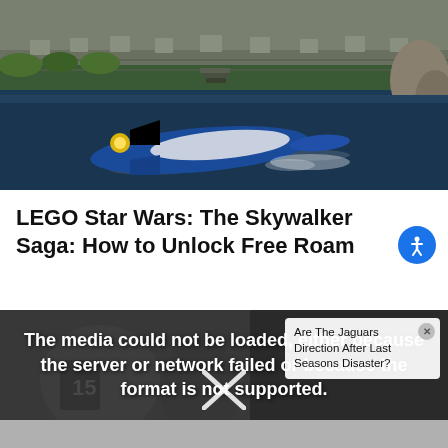[Figure (screenshot): Screenshot of a LEGO Star Wars video game showing a blue spacecraft/X-wing flying over water near a stone structure]
LEGO Star Wars: The Skywalker Saga: How to Unlock Free Roam
[Figure (screenshot): Video player showing error message: 'The media could not be loaded, either because the server or network failed or because the format is not supported.' with an X icon. Background shows sports footage (Jaguars). An ad overlay reads 'Are The Jaguars Direction After Last Seasons Disaster?' with a close button.]